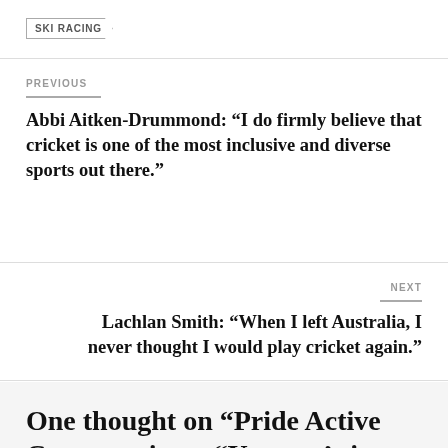SKI RACING
PREVIOUS
Abbi Aitken-Drummond: “I do firmly believe that cricket is one of the most inclusive and diverse sports out there.”
NEXT
Lachlan Smith: “When I left Australia, I never thought I would play cricket again.”
One thought on “Pride Active Conversations: “You can’t just